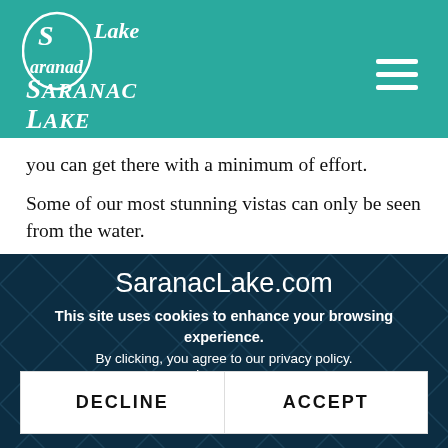Saranac Lake [logo] [hamburger menu]
you can get there with a minimum of effort.
Some of our most stunning vistas can only be seen from the water.
SaranacLake.com
This site uses cookies to enhance your browsing experience.
By clicking, you agree to our privacy policy. View Terms.
DECLINE   ACCEPT